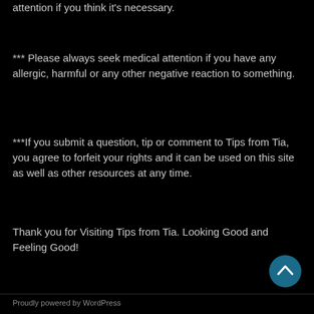attention if you think it's necessary.
*** Please always seek medical attention if you have any allergic, harmful or any other negative reaction to something.
***If you submit a question, tip or comment to Tips from Tia, you agree to forfeit your rights and it can be used on this site as well as other resources at any time.
Thank you for Visiting Tips from Tia. Looking Good and Feeling Good!
Proudly powered by WordPress